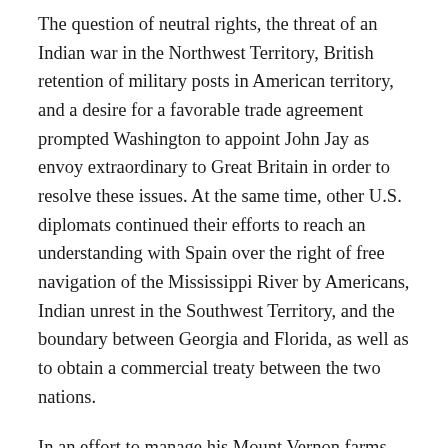The question of neutral rights, the threat of an Indian war in the Northwest Territory, British retention of military posts in American territory, and a desire for a favorable trade agreement prompted Washington to appoint John Jay as envoy extraordinary to Great Britain in order to resolve these issues. At the same time, other U.S. diplomats continued their efforts to reach an understanding with Spain over the right of free navigation of the Mississippi River by Americans, Indian unrest in the Southwest Territory, and the boundary between Georgia and Florida, as well as to obtain a commercial treaty between the two nations.
In an effort to manage his Mount Vernon farms while residing in Philadelphia, Washington regularly sent detailed instructions to William Pearce, his newly hired estate manager. Of particular concern were the implementation of a five-year plan of crop rotation